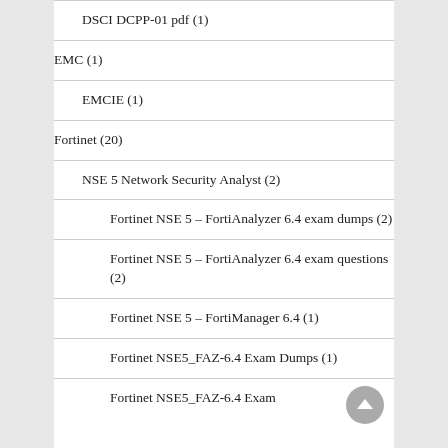DSCI DCPP-01 pdf (1)
EMC (1)
EMCIE (1)
Fortinet (20)
NSE 5 Network Security Analyst (2)
Fortinet NSE 5 – FortiAnalyzer 6.4 exam dumps (2)
Fortinet NSE 5 – FortiAnalyzer 6.4 exam questions (2)
Fortinet NSE 5 – FortiManager 6.4 (1)
Fortinet NSE5_FAZ-6.4 Exam Dumps (1)
Fortinet NSE5_FAZ-6.4 Exam